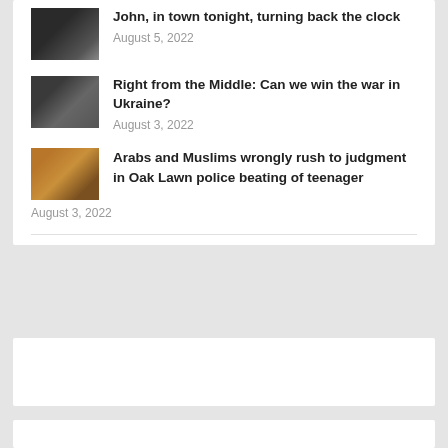John, in town tonight, turning back the clock
August 5, 2022
Right from the Middle: Can we win the war in Ukraine?
August 3, 2022
Arabs and Muslims wrongly rush to judgment in Oak Lawn police beating of teenager
August 3, 2022